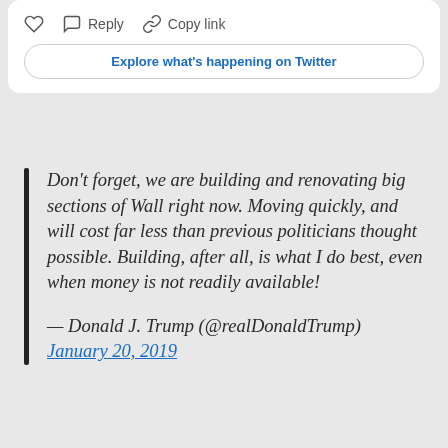[Figure (screenshot): Twitter action bar with heart, reply, and copy link icons]
Explore what's happening on Twitter
Don't forget, we are building and renovating big sections of Wall right now. Moving quickly, and will cost far less than previous politicians thought possible. Building, after all, is what I do best, even when money is not readily available!
— Donald J. Trump (@realDonaldTrump) January 20, 2019